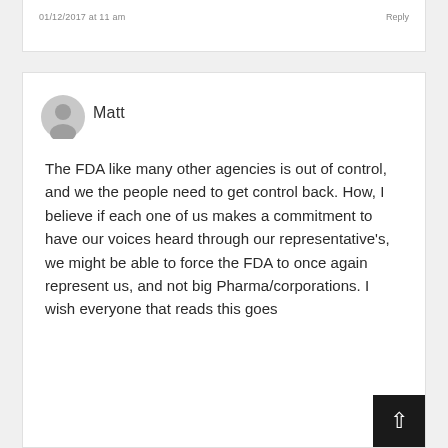01/12/2017 at 11 am   Reply
Matt
The FDA like many other agencies is out of control, and we the people need to get control back. How, I believe if each one of us makes a commitment to have our voices heard through our representative's, we might be able to force the FDA to once again represent us, and not big Pharma/corporations. I wish everyone that reads this goes